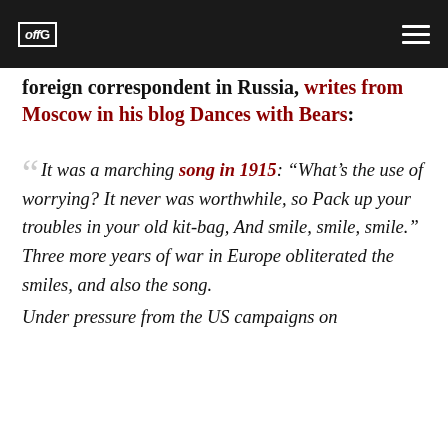offG [logo] [hamburger menu]
foreign correspondent in Russia, writes from Moscow in his blog Dances with Bears:
It was a marching song in 1915: “What’s the use of worrying? It never was worthwhile, so Pack up your troubles in your old kit-bag, And smile, smile, smile.” Three more years of war in Europe obliterated the smiles, and also the song.
Under pressure from the US campaigns on